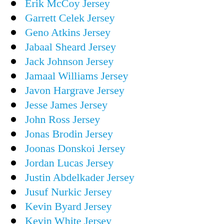Erik McCoy Jersey
Garrett Celek Jersey
Geno Atkins Jersey
Jabaal Sheard Jersey
Jack Johnson Jersey
Jamaal Williams Jersey
Javon Hargrave Jersey
Jesse James Jersey
John Ross Jersey
Jonas Brodin Jersey
Joonas Donskoi Jersey
Jordan Lucas Jersey
Justin Abdelkader Jersey
Jusuf Nurkic Jersey
Kevin Byard Jersey
Kevin White Jersey